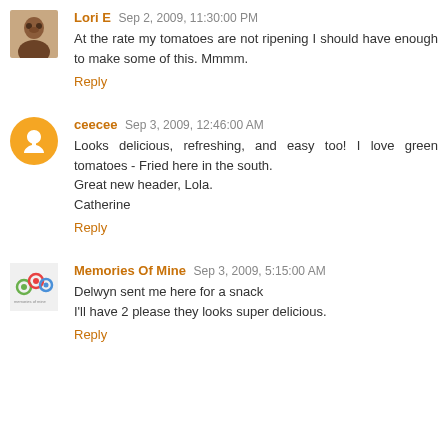Lori E Sep 2, 2009, 11:30:00 PM
At the rate my tomatoes are not ripening I should have enough to make some of this. Mmmm.
Reply
ceecee Sep 3, 2009, 12:46:00 AM
Looks delicious, refreshing, and easy too! I love green tomatoes - Fried here in the south.
Great new header, Lola.
Catherine
Reply
Memories Of Mine Sep 3, 2009, 5:15:00 AM
Delwyn sent me here for a snack
I'll have 2 please they looks super delicious.
Reply